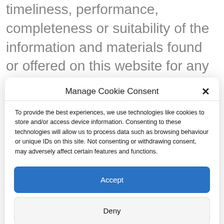timeliness, performance, completeness or suitability of the information and materials found or offered on this website for any particular
Manage Cookie Consent
To provide the best experiences, we use technologies like cookies to store and/or access device information. Consenting to these technologies will allow us to process data such as browsing behaviour or unique IDs on this site. Not consenting or withdrawing consent, may adversely affect certain features and functions.
Accept
Deny
View preferences
Cookie Policy   Website Privacy Policy